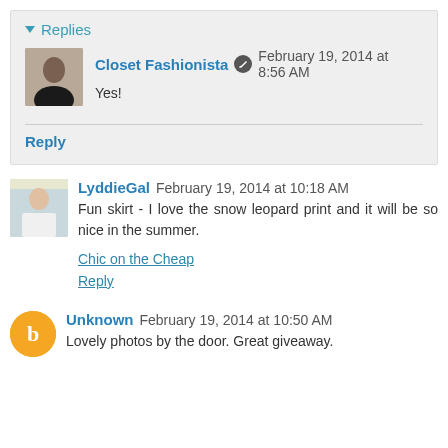Replies
Closet Fashionista  February 19, 2014 at 8:56 AM
Yes!
Reply
LyddieGal  February 19, 2014 at 10:18 AM
Fun skirt - I love the snow leopard print and it will be so nice in the summer.
Chic on the Cheap
Reply
Unknown  February 19, 2014 at 10:50 AM
Lovely photos by the door. Great giveaway.